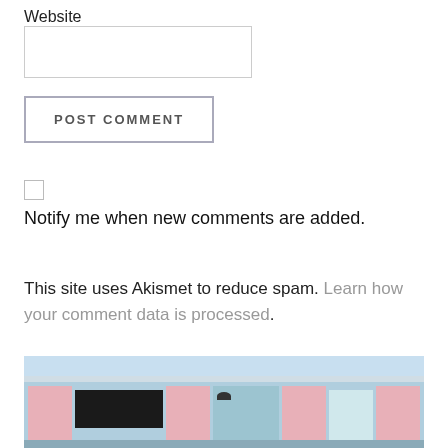Website
POST COMMENT
Notify me when new comments are added.
This site uses Akismet to reduce spam. Learn how your comment data is processed.
[Figure (photo): Exterior of a light blue building/storefront with pink-framed windows and dark window panels, likely a shop or food truck. Viewed from street level under a light blue sky.]